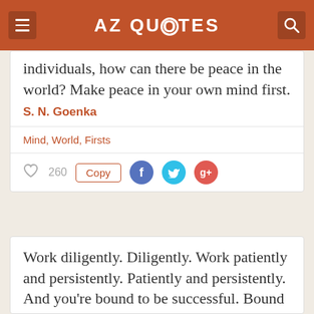AZ QUOTES
individuals, how can there be peace in the world? Make peace in your own mind first.
S. N. Goenka
Mind, World, Firsts
260 Copy
Work diligently. Diligently. Work patiently and persistently. Patiently and persistently. And you're bound to be successful. Bound to be successful.
S. N. Goenka